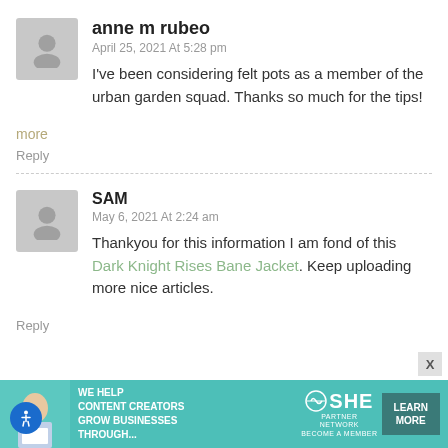anne m rubeo
April 25, 2021 At 5:28 pm
I've been considering felt pots as a member of the urban garden squad. Thanks so much for the tips!
more
Reply
SAM
May 6, 2021 At 2:24 am
Thankyou for this information I am fond of this Dark Knight Rises Bane Jacket. Keep uploading more nice articles.
Reply
[Figure (infographic): Advertisement banner for SHE Media Partner Network: WE HELP CONTENT CREATORS GROW BUSINESSES THROUGH... with a LEARN MORE button]